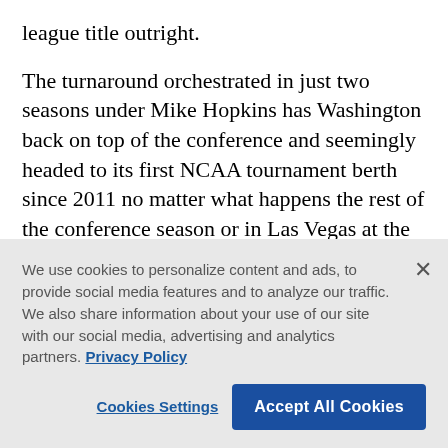league title outright.
The turnaround orchestrated in just two seasons under Mike Hopkins has Washington back on top of the conference and seemingly headed to its first NCAA tournament berth since 2011 no matter what happens the rest of the conference season or in Las Vegas at the Pac-12 tournament.
“Guys kept getting better and started buying in. Learnability was fast. But I always had a vision of
We use cookies to personalize content and ads, to provide social media features and to analyze our traffic. We also share information about your use of our site with our social media, advertising and analytics partners. Privacy Policy
Cookies Settings
Accept All Cookies